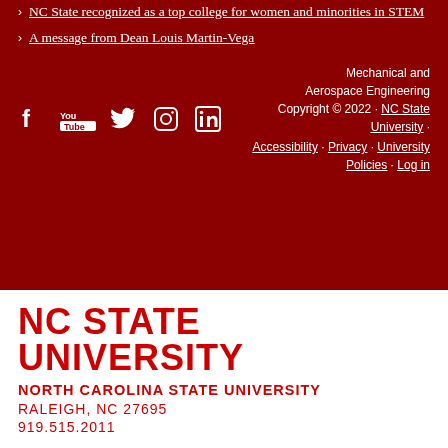NC State recognized as a top college for women and minorities in STEM
A message from Dean Louis Martin-Vega
Mechanical and Aerospace Engineering Copyright © 2022 · NC State University · Accessibility · Privacy · University Policies · Log in
NC STATE UNIVERSITY
NORTH CAROLINA STATE UNIVERSITY
RALEIGH, NC 27695
919.515.2011